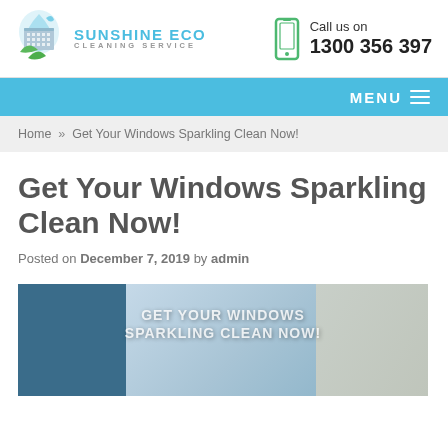Sunshine Eco Cleaning Service | Call us on 1300 356 397
MENU
Home » Get Your Windows Sparkling Clean Now!
Get Your Windows Sparkling Clean Now!
Posted on December 7, 2019 by admin
[Figure (photo): Window being cleaned with a squeegee, overlaid text: GET YOUR WINDOWS SPARKLING CLEAN NOW!]